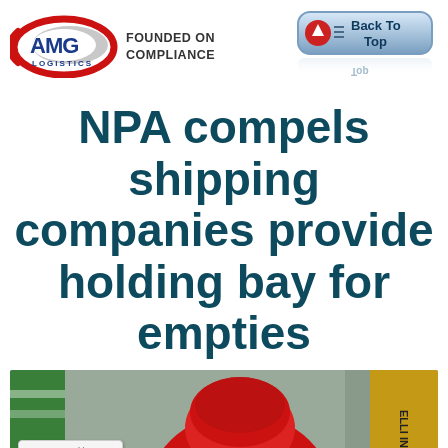[Figure (logo): AMG Logistics logo with red arc and gray ellipse, text 'AMG' in blue bold and 'LOGISTICS' below]
FOUNDED ON COMPLIANCE
[Figure (other): Blue rounded button with red circular icon and text 'Back To Top' with hamburger menu icon]
NPA compels shipping companies provide holding bay for empties
[Figure (photo): A person wearing red headwear at an event with green and yellow banners in the background. Sucuri security badge overlaid in bottom left corner.]